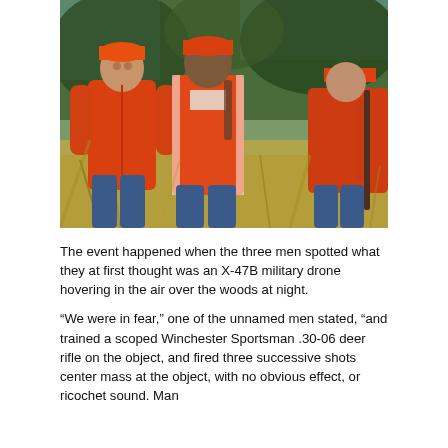[Figure (photo): Three men wearing bright orange hunting jackets and orange caps walking through wooded brush outdoors. The man in the center and left are facing the camera. The man on the right is partially cropped.]
The event happened when the three men spotted what they at first thought was an X-47B military drone hovering in the air over the woods at night.
"We were in fear," one of the unnamed men stated, "and trained a scoped Winchester Sportsman .30-06 deer rifle on the object, and fired three successive shots center mass at the object, with no obvious effect, or ricochet sound. Man with no fixed t...